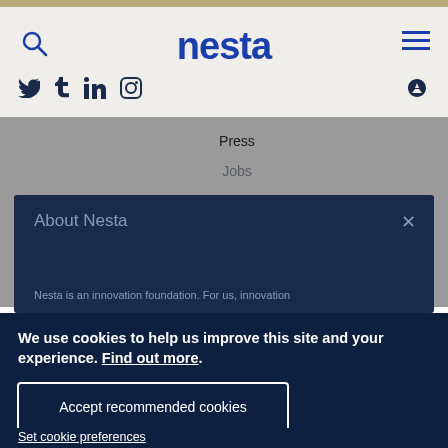nesta
Press
Jobs
Privacy
About Nesta
Nesta is an innovation foundation. For us, innovation
We use cookies to help us improve this site and your experience. Find out more.
Accept recommended cookies
Set cookie preferences